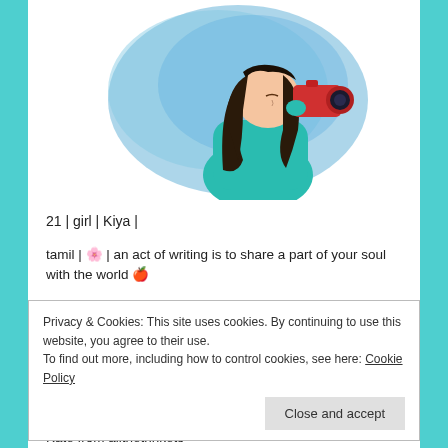[Figure (illustration): Watercolor-style illustration of a girl with long dark hair wearing a teal/green sweater, holding a red camera up to her face, against a blue watercolor wash background.]
21 | girl | Kiya |
tamil | 🌸 | an act of writing is to share a part of your soul with the world 🍎
Privacy & Cookies: This site uses cookies. By continuing to use this website, you agree to their use.
To find out more, including how to control cookies, see here: Cookie Policy
Close and accept
Kate from allthetrinkets